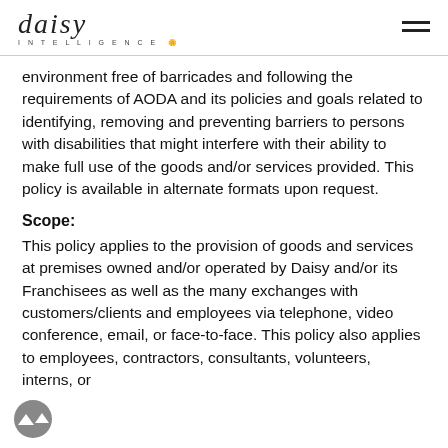daisy INTELLIGENCE
environment free of barricades and following the requirements of AODA and its policies and goals related to identifying, removing and preventing barriers to persons with disabilities that might interfere with their ability to make full use of the goods and/or services provided. This policy is available in alternate formats upon request.
Scope:
This policy applies to the provision of goods and services at premises owned and/or operated by Daisy and/or its Franchisees as well as the many exchanges with customers/clients and employees via telephone, video conference, email, or face-to-face. This policy also applies to employees, contractors, consultants, volunteers, interns, or